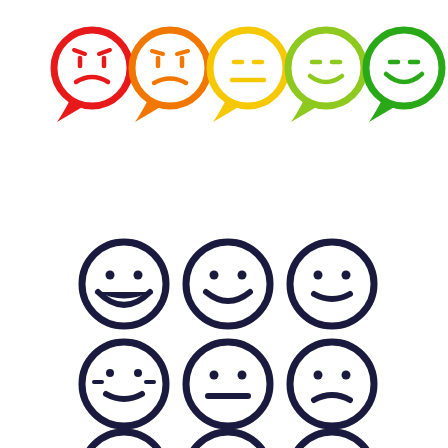[Figure (illustration): Five colored speech bubble emoji faces ranging from red (sad) to green (happy), representing a satisfaction rating scale. Row of 6 dark navy outline emoji faces in two rows of 3: big grin, smile, slight smile, slight frown face with cheeks, neutral, slight frown. Plus partial row at bottom.]